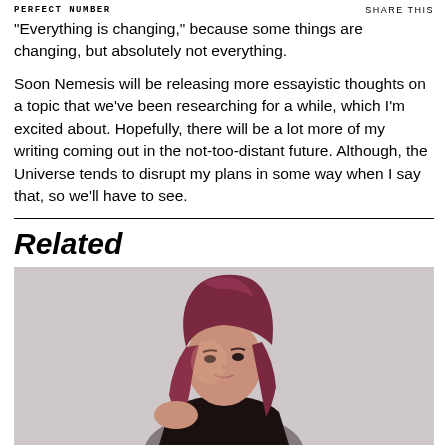PERFECT NUMBER | SHARE THIS
"Everything is changing," because some things are changing, but absolutely not everything.
Soon Nemesis will be releasing more essayistic thoughts on a topic that we've been researching for a while, which I'm excited about. Hopefully, there will be a lot more of my writing coming out in the not-too-distant future. Although, the Universe tends to disrupt my plans in some way when I say that, so we'll have to see.
Related
[Figure (photo): Young woman with reddish-purple hair, looking over her shoulder, photographed against a light grey background]